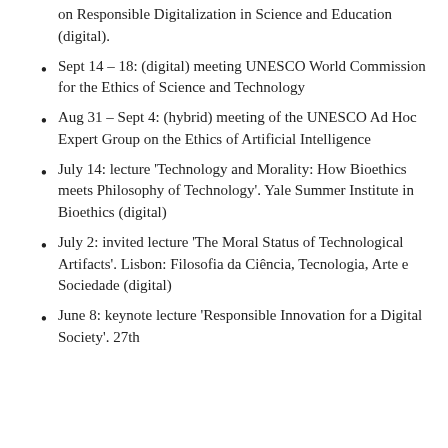on Responsible Digitalization in Science and Education (digital).
Sept 14 – 18: (digital) meeting UNESCO World Commission for the Ethics of Science and Technology
Aug 31 – Sept 4: (hybrid) meeting of the UNESCO Ad Hoc Expert Group on the Ethics of Artificial Intelligence
July 14: lecture 'Technology and Morality: How Bioethics meets Philosophy of Technology'. Yale Summer Institute in Bioethics (digital)
July 2: invited lecture 'The Moral Status of Technological Artifacts'. Lisbon: Filosofia da Ciência, Tecnologia, Arte e Sociedade (digital)
June 8: keynote lecture 'Responsible Innovation for a Digital Society'. 27th